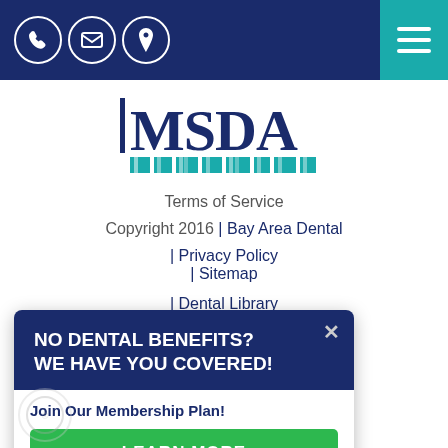[Figure (screenshot): Navigation bar with phone, email, location icons on dark blue background and teal hamburger menu]
[Figure (logo): MSDA logo with stylized text]
Terms of Service
Copyright 2016 | Bay Area Dental | Privacy Policy
| Sitemap
| Dental Library
| Dental Dictionary
|own Resources
| Accessibility Policy
| FAQ
[Figure (infographic): Popup overlay: NO DENTAL BENEFITS? WE HAVE YOU COVERED! Join Our Membership Plan! LEARN MORE button]